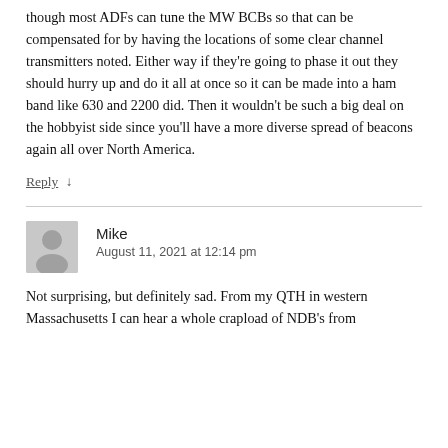loved the back up reliability and simple simplicity of NDBs though most ADFs can tune the MW BCBs so that can be compensated for by having the locations of some clear channel transmitters noted. Either way if they're going to phase it out they should hurry up and do it all at once so it can be made into a ham band like 630 and 2200 did. Then it wouldn't be such a big deal on the hobbyist side since you'll have a more diverse spread of beacons again all over North America.
Reply ↓
Mike
August 11, 2021 at 12:14 pm
Not surprising, but definitely sad. From my QTH in western Massachusetts I can hear a whole crapload of NDB's from